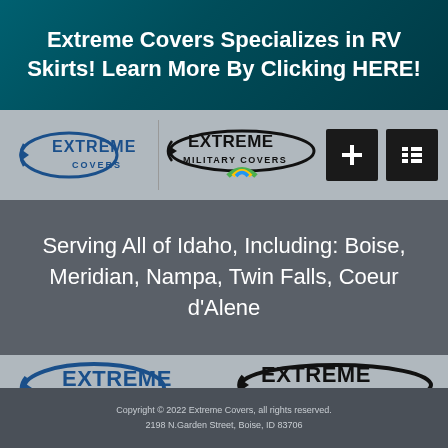Extreme Covers Specializes in RV Skirts! Learn More By Clicking HERE!
[Figure (logo): Extreme Covers logo (small) in navigation bar]
[Figure (logo): Extreme Military Covers logo (small) in navigation bar with rainbow arc]
[Figure (other): Navigation icon buttons: plus icon and list icon]
Serving All of Idaho, Including: Boise, Meridian, Nampa, Twin Falls, Coeur d'Alene
[Figure (logo): Extreme Covers logo (large)]
[Figure (logo): Extreme Military Covers logo (large)]
Copyright © 2022 Extreme Covers, all rights reserved.
2198 N.Garden Street, Boise, ID 83706